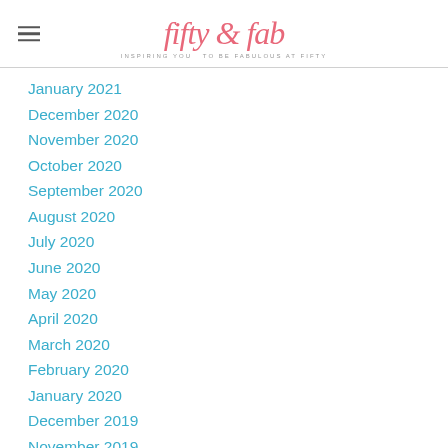fifty & fab — inspiring you to be fabulous at fifty
January 2021
December 2020
November 2020
October 2020
September 2020
August 2020
July 2020
June 2020
May 2020
April 2020
March 2020
February 2020
January 2020
December 2019
November 2019
October 2019
September 2019